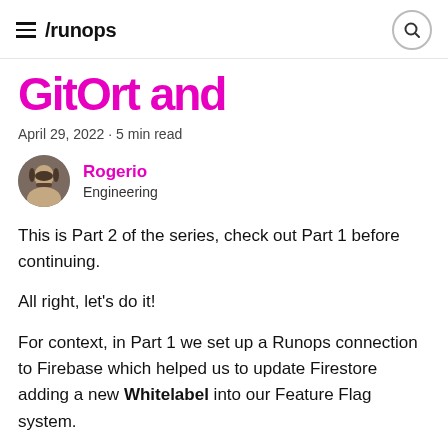/runops
GitOrt and...
April 29, 2022 · 5 min read
Rogerio
Engineering
This is Part 2 of the series, check out Part 1 before continuing.
All right, let's do it!
For context, in Part 1 we set up a Runops connection to Firebase which helped us to update Firestore adding a new Whitelabel into our Feature Flag system.